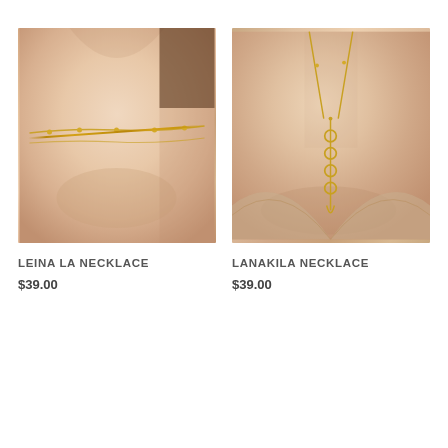[Figure (photo): Close-up photo of a person's neck wearing a delicate gold chain necklace with small bead accents, product: Leina La Necklace]
LEINA LA NECKLACE
$39.00
[Figure (photo): Close-up photo of a person's neck wearing a gold lariat/Y-style necklace with dangling chain and ring charms, product: Lanakila Necklace]
LANAKILA NECKLACE
$39.00